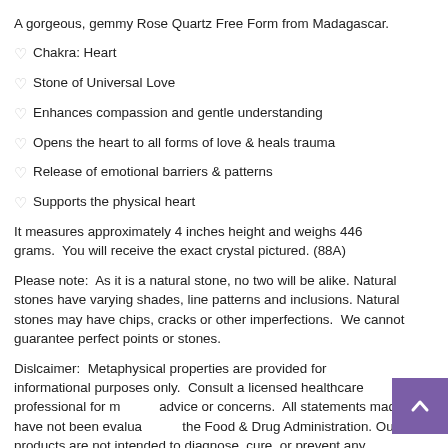A gorgeous, gemmy Rose Quartz Free Form from Madagascar.
♡ Chakra: Heart
♡ Stone of Universal Love
♡ Enhances compassion and gentle understanding
♡ Opens the heart to all forms of love & heals trauma
♡ Release of emotional barriers & patterns
♡ Supports the physical heart
It measures approximately 4 inches height and weighs 446 grams.  You will receive the exact crystal pictured. (88A)
Please note:  As it is a natural stone, no two will be alike. Natural stones have varying shades, line patterns and inclusions. Natural stones may have chips, cracks or other imperfections.  We cannot guarantee perfect points or stones.
Dislcaimer:  Metaphysical properties are provided for informational purposes only.  Consult a licensed healthcare professional for medical advice or concerns.  All statements made have not been evaluated by the Food & Drug Administration. Our products are not intended to diagnose, cure, or prevent any disease. If a condition persists, please contact your physician or health care provider. The information provided